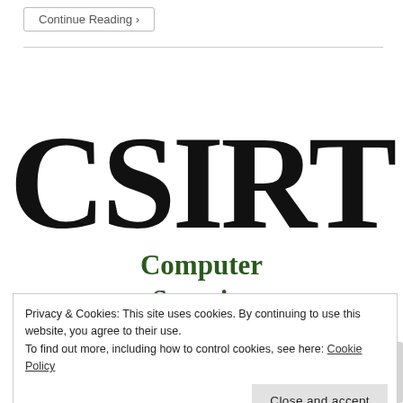Continue Reading ›
[Figure (logo): CSIRT stencil-style logo text in large bold black font]
Computer Security
Team
Privacy & Cookies: This site uses cookies. By continuing to use this website, you agree to their use. To find out more, including how to control cookies, see here: Cookie Policy
Close and accept